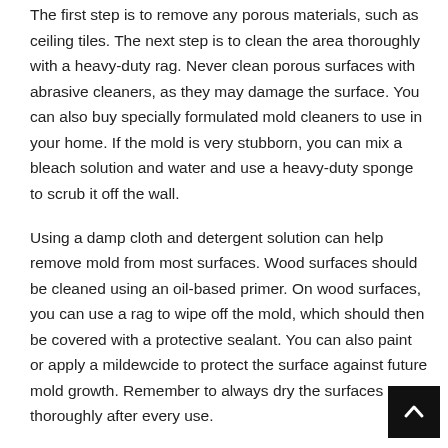The first step is to remove any porous materials, such as ceiling tiles. The next step is to clean the area thoroughly with a heavy-duty rag. Never clean porous surfaces with abrasive cleaners, as they may damage the surface. You can also buy specially formulated mold cleaners to use in your home. If the mold is very stubborn, you can mix a bleach solution and water and use a heavy-duty sponge to scrub it off the wall.
Using a damp cloth and detergent solution can help remove mold from most surfaces. Wood surfaces should be cleaned using an oil-based primer. On wood surfaces, you can use a rag to wipe off the mold, which should then be covered with a protective sealant. You can also paint or apply a mildewcide to protect the surface against future mold growth. Remember to always dry the surfaces thoroughly after every use.
After you've cleaned the surface of the mold, it's time to the next step. A thorough cleaning is necessary to remove the